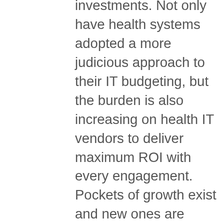investments. Not only have health systems adopted a more judicious approach to their IT budgeting, but the burden is also increasing on health IT vendors to deliver maximum ROI with every engagement. Pockets of growth exist and new ones are emerging, even as the overall trend in health IT spend moderates. Average contract sizes are slowly expanding for several health IT vendors, particularly the electronic health record (EHR)-centric companies that are seeing more frequent services expansions with existing clients. The diversification of health IT contracts is also forcing vendors to streamline go-to-market approaches for selling wide-